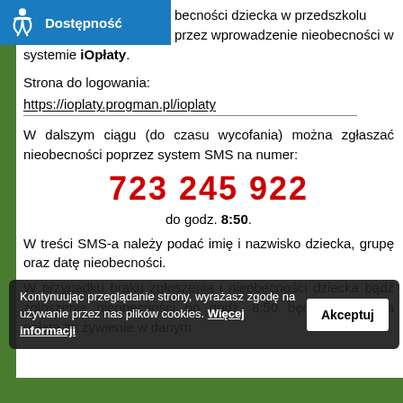[Figure (logo): Accessibility badge with wheelchair icon and text 'Dostępność' on blue background]
becności dziecka w przedszkolu przez wprowadzenie nieobecności w systemie iOpłaty.
Strona do logowania:
https://ioplaty.progman.pl/ioplaty
W dalszym ciągu (do czasu wycofania) można zgłaszać nieobecności poprzez system SMS na numer:
723 245 922
do godz. 8:50.
W treści SMS-a należy podać imię i nazwisko dziecka, grupę oraz datę nieobecności.
W przypadku braku zgłoszenia i nieobecności dziecka bądź zgłoszenia nieobecności po godz. 8:50 będzie naliczona opłata za żywienie w danym
Kontynuując przeglądanie strony, wyrażasz zgodę na używanie przez nas plików cookies. Więcej informacji Akceptuj